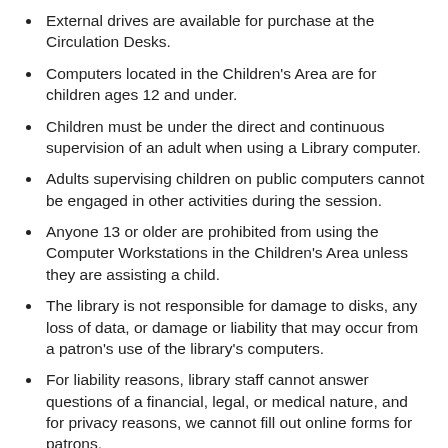External drives are available for purchase at the Circulation Desks.
Computers located in the Children's Area are for children ages 12 and under.
Children must be under the direct and continuous supervision of an adult when using a Library computer.
Adults supervising children on public computers cannot be engaged in other activities during the session.
Anyone 13 or older are prohibited from using the Computer Workstations in the Children's Area unless they are assisting a child.
The library is not responsible for damage to disks, any loss of data, or damage or liability that may occur from a patron's use of the library's computers.
For liability reasons, library staff cannot answer questions of a financial, legal, or medical nature, and for privacy reasons, we cannot fill out online forms for patrons.